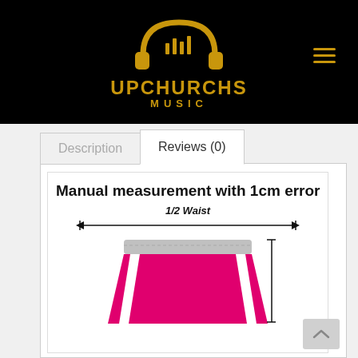[Figure (logo): Upchurchs Music logo with gold headphones and music bars on black background]
Description
Reviews (0)
[Figure (illustration): Sizing diagram of pink athletic shorts showing Manual measurement with 1cm error, with 1/2 Waist measurement arrow]
Manual measurement with 1cm error
1/2 Waist